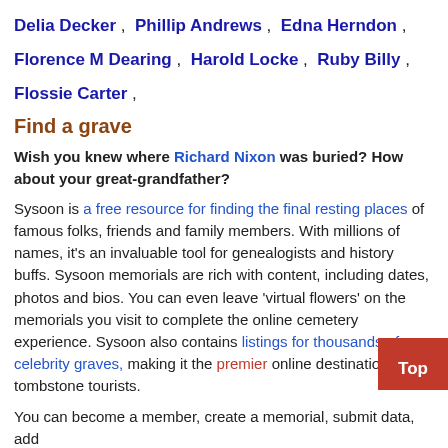Delia Decker , Phillip Andrews , Edna Herndon ,
Florence M Dearing , Harold Locke , Ruby Billy ,
Flossie Carter ,
Find a grave
Wish you knew where Richard Nixon was buried? How about your great-grandfather?
Sysoon is a free resource for finding the final resting places of famous folks, friends and family members. With millions of names, it's an invaluable tool for genealogists and history buffs. Sysoon memorials are rich with content, including dates, photos and bios. You can even leave 'virtual flowers' on the memorials you visit to complete the online cemetery experience. Sysoon also contains listings for thousands of celebrity graves, making it the premier online destination for tombstone tourists.
You can become a member, create a memorial, submit data, add